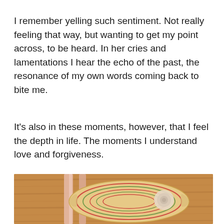I remember yelling such sentiment. Not really feeling that way, but wanting to get my point across, to be heard. In her cries and lamentations I hear the echo of the past, the resonance of my own words coming back to bite me.
It's also in these moments, however, that I feel the depth in life. The moments I understand love and forgiveness.
[Figure (photo): A warm-toned Instagram-filtered photograph showing a decorative paper or craft flower/heart ornament with layered colorful lines (red, green) on a wooden surface, with ribbon and a bow visible.]